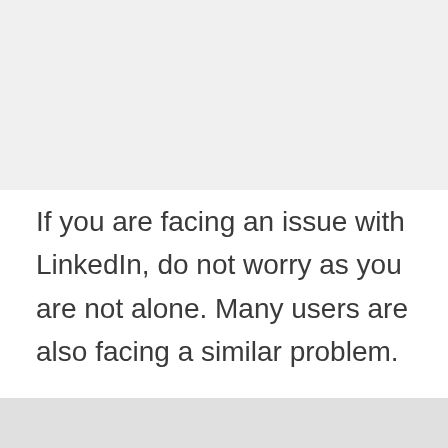[Figure (other): Gray placeholder image area at the top of the page]
If you are facing an issue with LinkedIn, do not worry as you are not alone. Many users are also facing a similar problem.
A quick look at social networking sites confirms that LinkedIn is having some issues recently.